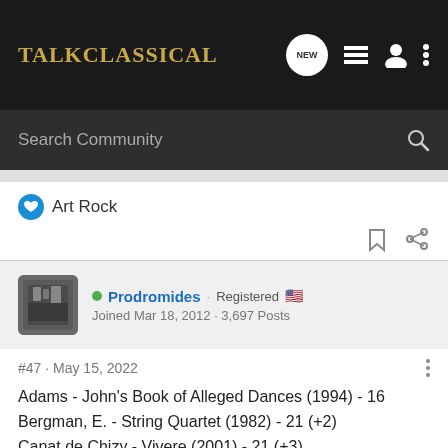Talk Classical
Search Community
Art Rock
Prodromides · Registered
Joined Mar 18, 2012 · 3,697 Posts
#47 · May 15, 2022
Adams - John's Book of Alleged Dances (1994) - 16
Bergman, E. - String Quartet (1982) - 21 (+2)
Canat de Chizy - Vivere (2001) - 21 (+3)
Davies, P. M. - Naxos Quartet No. 9 (2005) - 63
Erb - String Quartet No. 3 (1995) - 21 (+1)